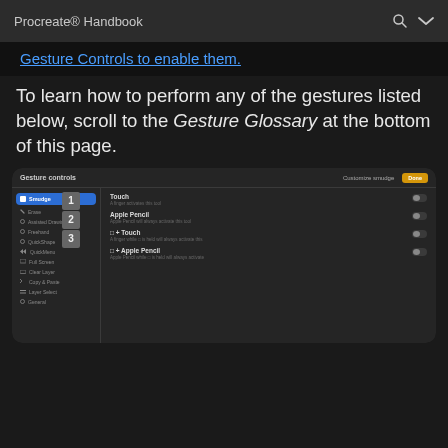Procreate® Handbook
Gesture Controls to enable them.
To learn how to perform any of the gestures listed below, scroll to the Gesture Glossary at the bottom of this page.
[Figure (screenshot): Screenshot of Procreate Gesture Controls panel showing Smudge selected with Customize smudge panel open on the right, showing Touch, Apple Pencil, □+Touch, and □+Apple Pencil toggle options. Numbered callouts 1, 2, 3 overlay the left panel.]